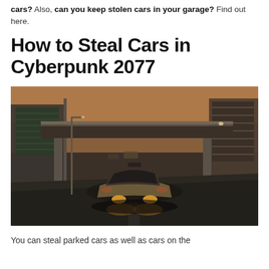cars? Also, can you keep stolen cars in your garage? Find out here.
How to Steal Cars in Cyberpunk 2077
[Figure (screenshot): Screenshot from Cyberpunk 2077 showing a car driving through a futuristic urban street at golden hour, viewed from behind the vehicle with an overpass/elevated roadway structure in the background.]
You can steal parked cars as well as cars on the